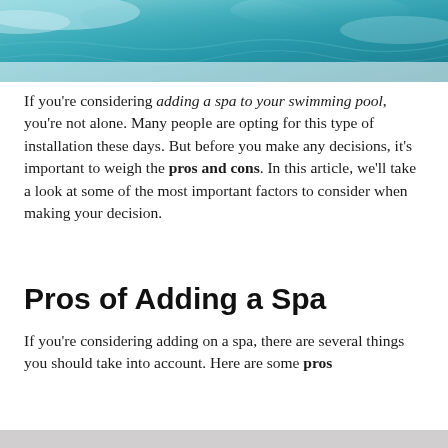[Figure (photo): Aerial view of a blue swimming pool with light reflections on the water surface, teal and turquoise tones.]
If you’re considering adding a spa to your swimming pool, you’re not alone. Many people are opting for this type of installation these days. But before you make any decisions, it’s important to weigh the pros and cons. In this article, we’ll take a look at some of the most important factors to consider when making your decision.
Pros of Adding a Spa
If you’re considering adding on a spa, there are several things you should take into account. Here are some pros of adding a spa that will help you make your decision: